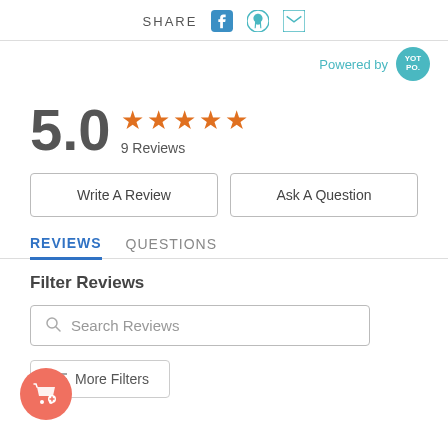SHARE
Powered by YOT PO.
5.0 ★★★★★ 9 Reviews
Write A Review
Ask A Question
REVIEWS   QUESTIONS
Filter Reviews
Search Reviews
More Filters